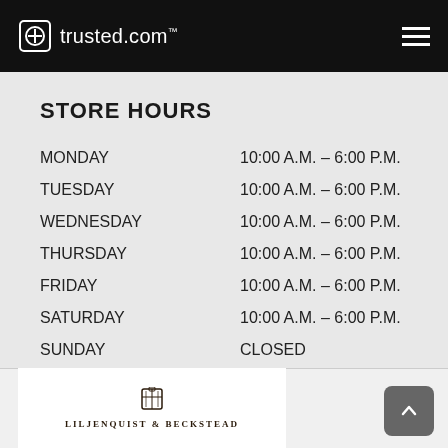trusted.com™
STORE HOURS
| Day | Hours |
| --- | --- |
| MONDAY | 10:00 A.M. – 6:00 P.M. |
| TUESDAY | 10:00 A.M. – 6:00 P.M. |
| WEDNESDAY | 10:00 A.M. – 6:00 P.M. |
| THURSDAY | 10:00 A.M. – 6:00 P.M. |
| FRIDAY | 10:00 A.M. – 6:00 P.M. |
| SATURDAY | 10:00 A.M. – 6:00 P.M. |
| SUNDAY | CLOSED |
[Figure (logo): Liljenquist & Beckstead logo with decorative monogram]
LILJENQUIST & BECKSTEAD